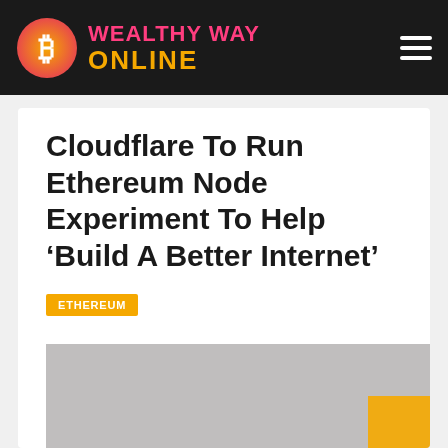WEALTHY WAY ONLINE
Cloudflare To Run Ethereum Node Experiment To Help ‘Build A Better Internet’
ETHEREUM
[Figure (photo): Article header image placeholder (light gray rectangle with an orange element in the bottom-right corner)]